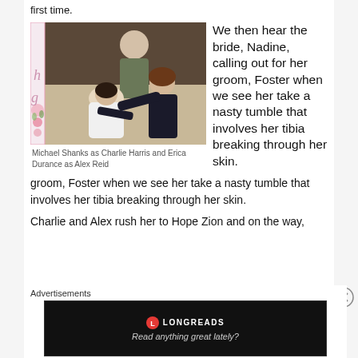first time.
[Figure (photo): Michael Shanks as Charlie Harris and Erica Durance as Alex Reid — two actors crouched over a woman in a wedding dress on the floor of a wood-paneled room.]
Michael Shanks as Charlie Harris and Erica Durance as Alex Reid
We then hear the bride, Nadine, calling out for her groom, Foster when we see her take a nasty tumble that involves her tibia breaking through her skin.
Charlie and Alex rush her to Hope Zion and on the way,
Advertisements
[Figure (infographic): Longreads advertisement banner reading 'Read anything great lately?' on a dark background with the Longreads logo.]